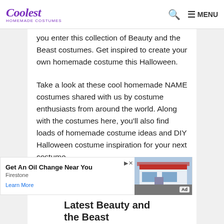Coolest Homemade Costumes — MENU
you enter this collection of Beauty and the Beast costumes. Get inspired to create your own homemade costume this Halloween.
Take a look at these cool homemade NAME costumes shared with us by costume enthusiasts from around the world. Along with the costumes here, you'll also find loads of homemade costume ideas and DIY Halloween costume inspiration for your next costume
[Figure (screenshot): Advertisement banner: 'Get An Oil Change Near You' by Firestone with 'Learn More' link and photo of a Firestone store building. Ad badge visible.]
Latest Beauty and the Beast Costumes